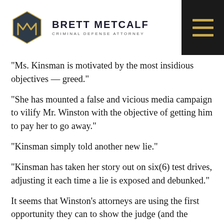[Figure (logo): Brett Metcalf Criminal Defense Attorney logo with hexagon icon and text]
“Ms. Kinsman is motivated by the most insidious objectives — greed.”
“She has mounted a false and vicious media campaign to vilify Mr. Winston with the objective of getting him to pay her to go away.”
“Kinsman simply told another new lie.”
“Kinsman has taken her story out on six(6) test drives, adjusting it each time a lie is exposed and debunked.”
It seems that Winston’s attorneys are using the first opportunity they can to show the judge (and the